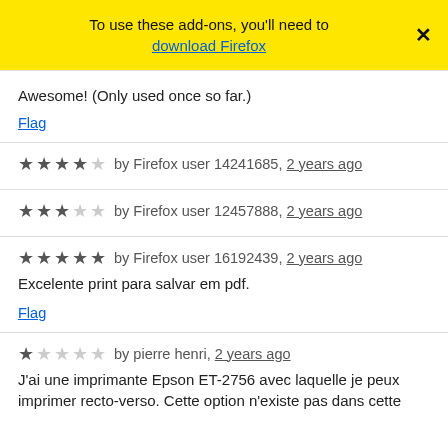To use these add-ons, you'll need to download Firefox
Awesome! (Only used once so far.)
Flag
★★★★☆ by Firefox user 14241685, 2 years ago
★★★☆☆ by Firefox user 12457888, 2 years ago
★★★★★ by Firefox user 16192439, 2 years ago
Excelente print para salvar em pdf.
Flag
★☆☆☆☆ by pierre henri, 2 years ago
J'ai une imprimante Epson ET-2756 avec laquelle je peux imprimer recto-verso. Cette option n'existe pas dans cette